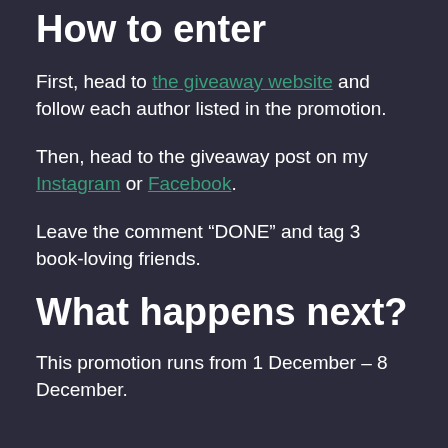How to enter
First, head to the giveaway website and follow each author listed in the promotion.
Then, head to the giveaway post on my Instagram or Facebook.
Leave the comment “DONE” and tag 3 book-loving friends.
What happens next?
This promotion runs from 1 December – 8 December.